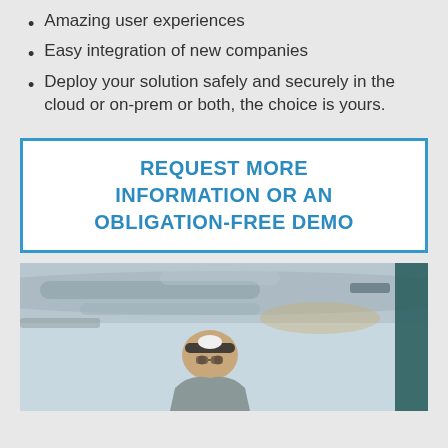Amazing user experiences
Easy integration of new companies
Deploy your solution safely and securely in the cloud or on-prem or both, the choice is yours.
REQUEST MORE INFORMATION OR AN OBLIGATION-FREE DEMO
[Figure (photo): Photo of a person with safety headgear in an industrial/warehouse environment with pipes and equipment visible in the background]